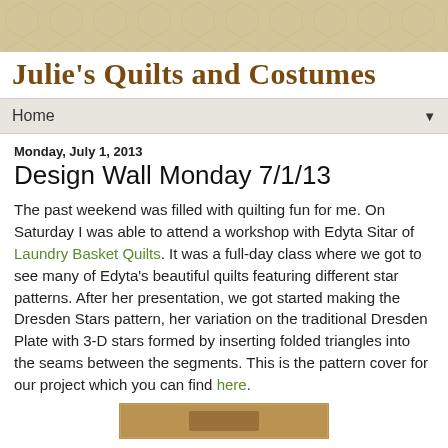[Figure (illustration): Decorative honeycomb/hexagon pattern header banner in tan/beige color]
Julie's Quilts and Costumes
Home ▼
Monday, July 1, 2013
Design Wall Monday 7/1/13
The past weekend was filled with quilting fun for me. On Saturday I was able to attend a workshop with Edyta Sitar of Laundry Basket Quilts. It was a full-day class where we got to see many of Edyta's beautiful quilts featuring different star patterns. After her presentation, we got started making the Dresden Stars pattern, her variation on the traditional Dresden Plate with 3-D stars formed by inserting folded triangles into the seams between the segments. This is the pattern cover for our project which you can find here.
[Figure (photo): Partial image of a quilt pattern cover at the bottom of the page]